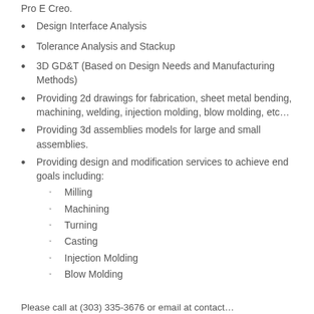Pro E Creo.
Design Interface Analysis
Tolerance Analysis and Stackup
3D GD&T (Based on Design Needs and Manufacturing Methods)
Providing 2d drawings for fabrication, sheet metal bending, machining, welding, injection molding, blow molding, etc…
Providing 3d assemblies models for large and small assemblies.
Providing design and modification services to achieve end goals including:
Milling
Machining
Turning
Casting
Injection Molding
Blow Molding
Please call at (303) 335-3676 or email at contact…